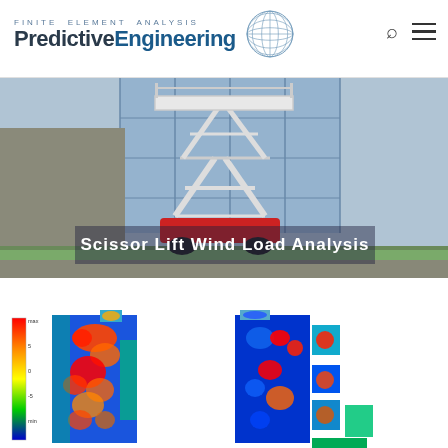Finite Element Analysis PredictiveEngineering
[Figure (photo): Scissor lift machine parked in front of a modern glass building, with text overlay 'Scissor Lift Wind Load Analysis']
[Figure (engineering-diagram): FEA stress/wind pressure contour maps of scissor lift panels shown in two views with color scale from blue (low) to red (high)]